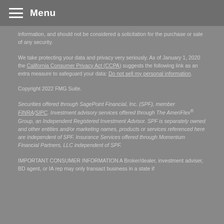Menu
information, and should not be considered a solicitation for the purchase or sale of any security.
We take protecting your data and privacy very seriously. As of January 1, 2020 the California Consumer Privacy Act (CCPA) suggests the following link as an extra measure to safeguard your data: Do not sell my personal information.
Copyright 2022 FMG Suite.
Securities offered through SagePoint Financial, Inc. (SPF), member FINRA/SIPC. Investment advisory services offered through The AmeriFlex® Group, an Independent Registered Investment Advisor. SPF is separately owned and other entities and/or marketing names, products or services referenced here are independent of SPF. Insurance Services offered through Momentum Financial Partners, LLC independent of SPF.
IMPORTANT CONSUMER INFORMATION A Broker/dealer, investment adviser, BD agent, or IA rep may only transact business in a state if